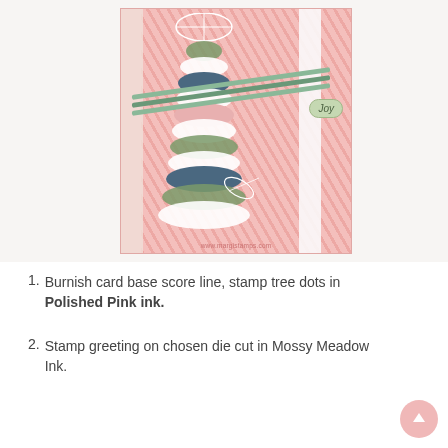[Figure (photo): A handmade Christmas card featuring a layered pine cone tree made from die-cut curved pieces in green, navy, and pink tones on a pink chevron-patterned background. Green ribbons cross the card diagonally. A 'Joy' tag in green is attached. White botanical die cuts frame the design. Website watermark: www.margistamps.com]
Burnish card base score line, stamp tree dots in Polished Pink ink.
Stamp greeting on chosen die cut in Mossy Meadow Ink.